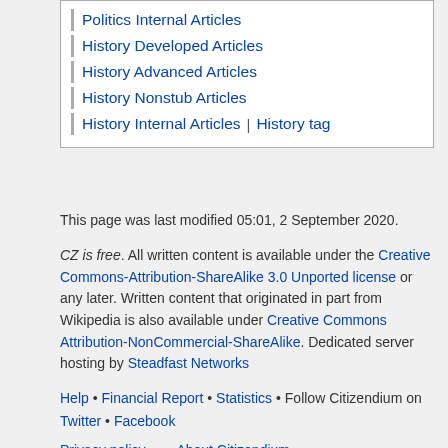Politics Internal Articles
History Developed Articles
History Advanced Articles
History Nonstub Articles
History Internal Articles | History tag
This page was last modified 05:01, 2 September 2020.
CZ is free. All written content is available under the Creative Commons-Attribution-ShareAlike 3.0 Unported license or any later. Written content that originated in part from Wikipedia is also available under Creative Commons Attribution-NonCommercial-ShareAlike. Dedicated server hosting by Steadfast Networks
Help • Financial Report • Statistics • Follow Citizendium on Twitter • Facebook
Privacy policy   About Citizendium
Disclaimers